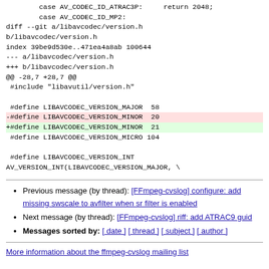case AV_CODEC_ID_ATRAC3P:     return 2048;
        case AV_CODEC_ID_MP2:
diff --git a/libavcodec/version.h b/libavcodec/version.h
index 39be9d530e..471ea4a8ab 100644
--- a/libavcodec/version.h
+++ b/libavcodec/version.h
@@ -28,7 +28,7 @@
 #include "libavutil/version.h"

 #define LIBAVCODEC_VERSION_MAJOR  58
-#define LIBAVCODEC_VERSION_MINOR  20
+#define LIBAVCODEC_VERSION_MINOR  21
 #define LIBAVCODEC_VERSION_MICRO 104

 #define LIBAVCODEC_VERSION_INT
AV_VERSION_INT(LIBAVCODEC_VERSION_MAJOR, \
Previous message (by thread): [FFmpeg-cvslog] configure: add missing swscale to avfilter when sr filter is enabled
Next message (by thread): [FFmpeg-cvslog] riff: add ATRAC9 guid
Messages sorted by: [ date ] [ thread ] [ subject ] [ author ]
More information about the ffmpeg-cvslog mailing list